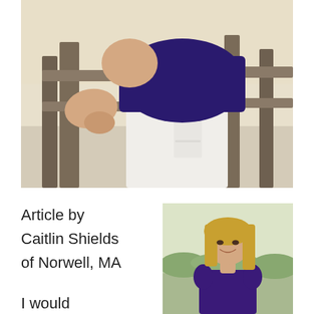[Figure (photo): Close-up photo of a young woman leaning against a wooden fence railing, wearing a navy/purple top and white pants, outdoor setting near water]
Article by Caitlin Shields of Norwell, MA

I would
[Figure (photo): Portrait photo of a smiling young blonde woman wearing a purple top, outdoors near water with green landscape in background]